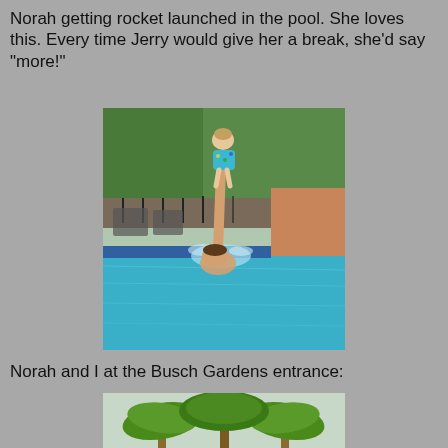Norah getting rocket launched in the pool. She loves this. Every time Jerry would give her a break, she'd say "more!"
[Figure (photo): A man in a swimming pool rocket-launching a toddler girl in a blue polka-dot swimsuit high into the air above the water, with splash water around them. Pool deck and fence visible in background.]
Norah and I at the Busch Gardens entrance:
[Figure (photo): Partial view of palm trees at the Busch Gardens entrance, showing the tops of green palm fronds against a light sky.]